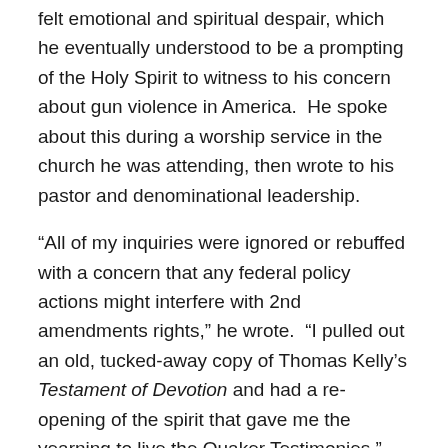felt emotional and spiritual despair, which he eventually understood to be a prompting of the Holy Spirit to witness to his concern about gun violence in America.  He spoke about this during a worship service in the church he was attending, then wrote to his pastor and denominational leadership.
“All of my inquiries were ignored or rebuffed with a concern that any federal policy actions might interfere with 2nd amendments rights,” he wrote.  “I pulled out an old, tucked-away copy of Thomas Kelly’s Testament of Devotion and had a re-opening of the spirit that gave me the yearning to live the Quaker Testimonies.”  He received the strength to leave his comfortable mainline church and to “seek fellowship” with Friends. He wrote: “God now has me on a better path of Truth as I live with renewed sense of integrity, peace, simplicity, care for the earth, concern